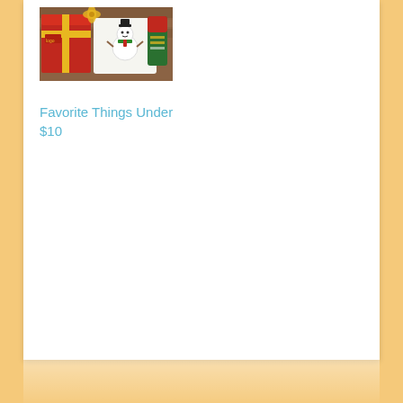[Figure (photo): Christmas-themed photo showing holiday gift wrapping items including a red box, snowman decoration, and colorful ribbons/stockings]
Favorite Things Under $10